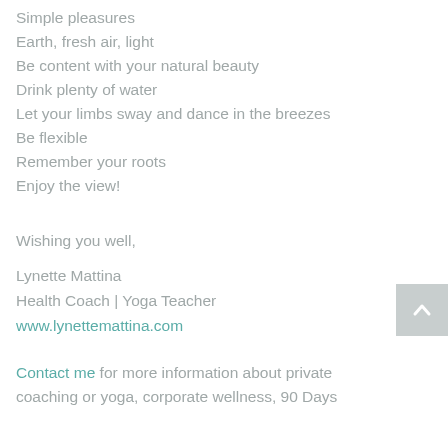Simple pleasures
Earth, fresh air, light
Be content with your natural beauty
Drink plenty of water
Let your limbs sway and dance in the breezes
Be flexible
Remember your roots
Enjoy the view!
Wishing you well,
Lynette Mattina
Health Coach | Yoga Teacher
www.lynettemattina.com
Contact me for more information about private coaching or yoga, corporate wellness, 90 Days